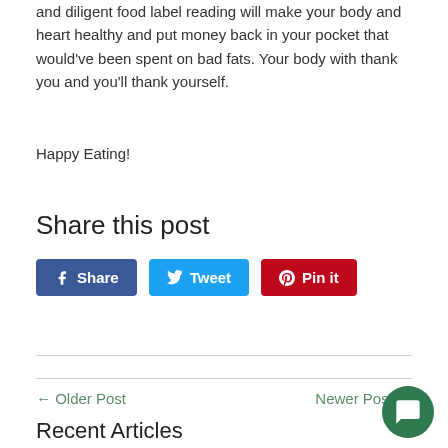and diligent food label reading will make your body and heart healthy and put money back in your pocket that would've been spent on bad fats. Your body with thank you and you'll thank yourself.
Happy Eating!
Share this post
Share | Tweet | Pin it
← Older Post
Newer Post →
Recent Articles